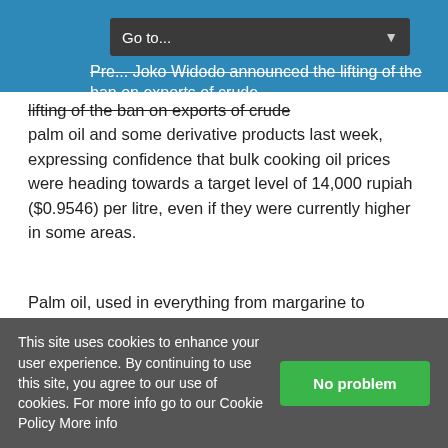Go to... Joko Widodo announced the lifting of the ban on exports of crude
lifting of the ban on exports of crude palm oil and some derivative products last week, expressing confidence that bulk cooking oil prices were heading towards a target level of 14,000 rupiah ($0.9546) per litre, even if they were currently higher in some areas.
Palm oil, used in everything from margarine to shampoo, comprises a third of the world's vegetable oil market, with Indonesia accounting for about 60% of supply.
To ensure supply security, Indonesia said it will impose a so-called Domestic
This site uses cookies to enhance your user experience. By continuing to use this site, you agree to our use of cookies. For more info go to our Cookie Policy More info